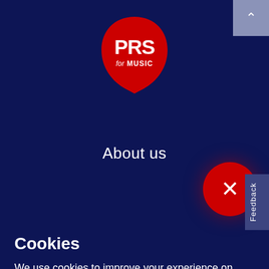[Figure (logo): PRS for Music logo — white bold text 'PRS' and smaller 'for MUSIC' on a red speech-bubble / plectrum-shaped background]
About us
[Figure (other): Red circular close button with a white X symbol]
Cookies
We use cookies to improve your experience on our website, assess how you use our website and for website security purposes. By continuing to navigate this website, we'll assume you agree to this. Read more about what cookies do and how to adjust your settings here.